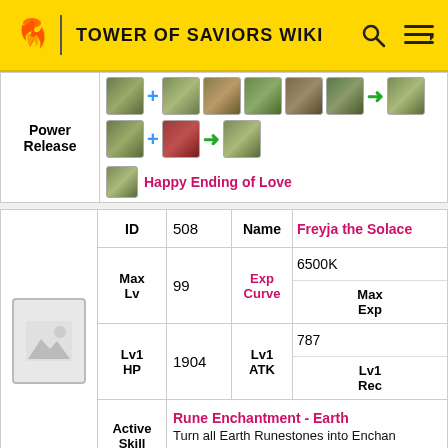TOWER OF SAVIORS WIKI
| Power Release | Content |
| --- | --- |
| Power Release | [icons: card + card card card card card → card] [card + card → card] |
|  | Happy Ending of Love |
|  | ID | 508 | Name | Freyja the Solace |
| --- | --- | --- | --- | --- |
|  | Max Lv | 99 | Exp Curve | 6500K | Max Exp |  |
|  | Lv1 HP | 1904 | Lv1 ATK | 787 | Lv1 Rec |  |
|  | Active Skill | Rune Enchantment - Earth Turn all Earth Runestones into Enchanted Runestones. |  |  |  |  |